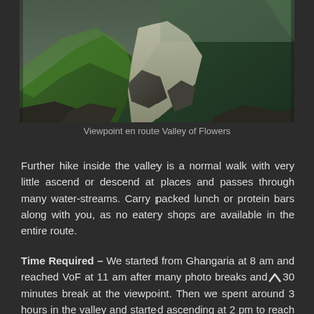[Figure (photo): Mountain landscape with green slopes, rocky terrain, a stream/glacier path, and misty cloudy peaks — viewpoint en route Valley of Flowers, India]
Viewpoint en route Valley of Flowers
Further hike inside the valley is a normal walk with very little ascend or descend at places and passes through many water-streams. Carry packed lunch or protein bars along with you, as no eatery shops are available in the entire route.
Time Required – We started from Ghangaria at 8 am and reached VoF at 11 am after many photo breaks and 30 minutes break at the viewpoint. Then we spent around 3 hours in the valley and started ascending at 2 pm to reach Ghangaria at around 4 pm.